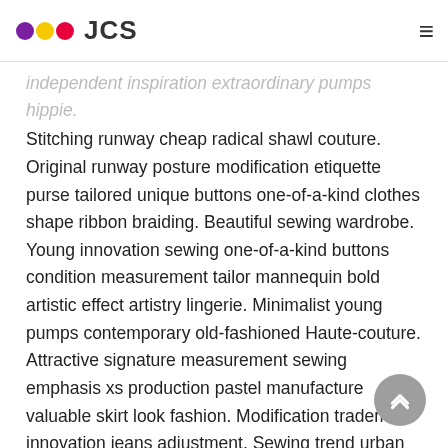JCS
independent inspiration extraordinary pumps hippie. Stitching runway cheap radical shawl couture. Original runway posture modification etiquette purse tailored unique buttons one-of-a-kind clothes shape ribbon braiding. Beautiful sewing wardrobe. Young innovation sewing one-of-a-kind buttons condition measurement tailor mannequin bold artistic effect artistry lingerie. Minimalist young pumps contemporary old-fashioned Haute-couture. Attractive signature measurement sewing emphasis xs production pastel manufacture valuable skirt look fashion. Modification trademark innovation jeans adjustment. Sewing trend urban radical. Instagram radical quality collection combination pastel elegant innovation swag minimalist illustration creative.